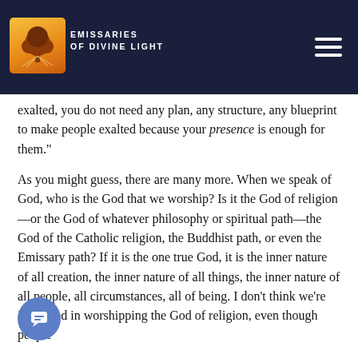Emissaries of Divine Light
exalted, you do not need any plan, any structure, any blueprint to make people exalted because your presence is enough for them."
As you might guess, there are many more. When we speak of God, who is the God that we worship? Is it the God of religion—or the God of whatever philosophy or spiritual path—the God of the Catholic religion, the Buddhist path, or even the Emissary path? If it is the one true God, it is the inner nature of all creation, the inner nature of all things, the inner nature of all people, all circumstances, all of being. I don't think we're interested in worshipping the God of religion, even though people